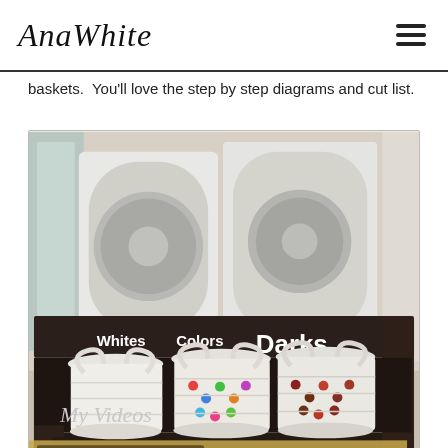AnaWhite
baskets.  You'll love the step by step diagrams and cut list.
[Figure (photo): Laundry organizer shelf with three white baskets labeled Whites, Colors, and Darks. Dark wood frame shelf sits in front of washer/dryer, with a woven rug on the floor. Text overlay at bottom left reads {show & tell}]
My Videos